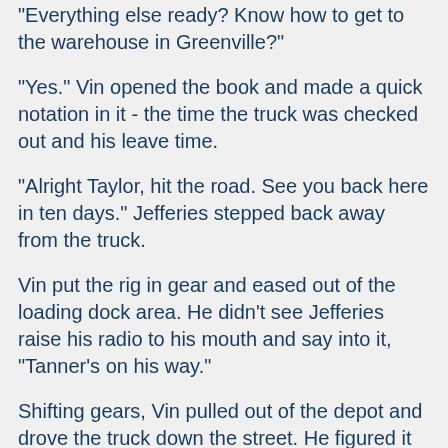"Everything else ready? Know how to get to the warehouse in Greenville?"
"Yes." Vin opened the book and made a quick notation in it - the time the truck was checked out and his leave time.
"Alright Taylor, hit the road. See you back here in ten days." Jefferies stepped back away from the truck.
Vin put the rig in gear and eased out of the loading dock area. He didn't see Jefferies raise his radio to his mouth and say into it, "Tanner's on his way."
Shifting gears, Vin pulled out of the depot and drove the truck down the street. He figured it was almost a two hour drive to get to Greenville, depending on the traffic. Cold air blasted into the cab as he maneuvered through the truck route heading for the Brooklyn/Queens Expressway. He closed his window but left the passenger side open part way; the close quarters in the cab sometimes fed his claustrophobia and an open window and the cool fresh air usually helped.